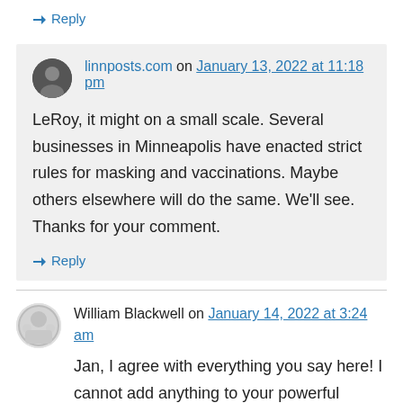↳ Reply
linnposts.com on January 13, 2022 at 11:18 pm
LeRoy, it might on a small scale. Several businesses in Minneapolis have enacted strict rules for masking and vaccinations. Maybe others elsewhere will do the same. We'll see. Thanks for your comment.
↳ Reply
William Blackwell on January 14, 2022 at 3:24 am
Jan, I agree with everything you say here! I cannot add anything to your powerful message